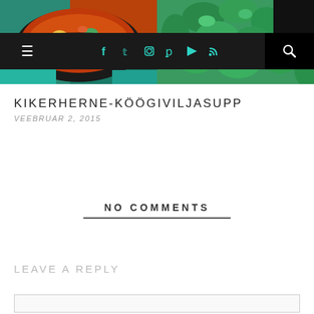[Figure (photo): Food blog photo collage: left side shows a bowl of vegetable/chickpea soup with colorful vegetables in a dark pot on a teal cloth, right side shows fresh green herbs/parsley]
≡  f  𝕥  ☷  ℗  ▶  ⌁  🔍
KIKERHERNE-KÖÖGIVILJASUPP
VEEBRUAR 2, 2015
NO COMMENTS
LEAVE A REPLY